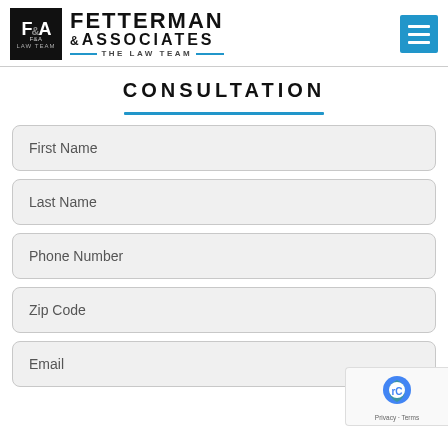[Figure (logo): Fetterman & Associates Law Team logo with black badge and blue tagline bar]
CONSULTATION
First Name
Last Name
Phone Number
Zip Code
Email